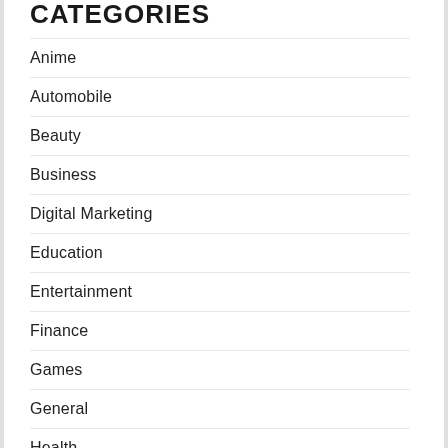CATEGORIES
Anime
Automobile
Beauty
Business
Digital Marketing
Education
Entertainment
Finance
Games
General
Health
Home